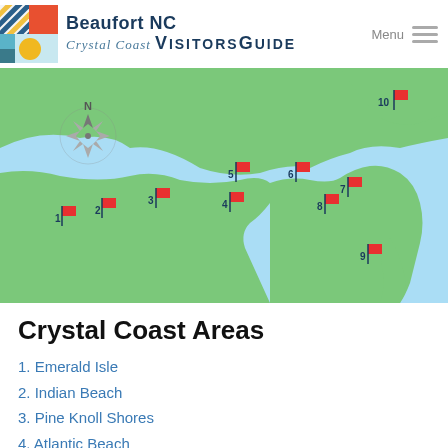Beaufort NC Crystal Coast Visitors Guide
[Figure (map): Map of Crystal Coast NC showing numbered red flag markers (1-10) at various beach towns and areas along the coastline, with a compass rose in the upper left of the map.]
Crystal Coast Areas
1. Emerald Isle
2. Indian Beach
3. Pine Knoll Shores
4. Atlantic Beach